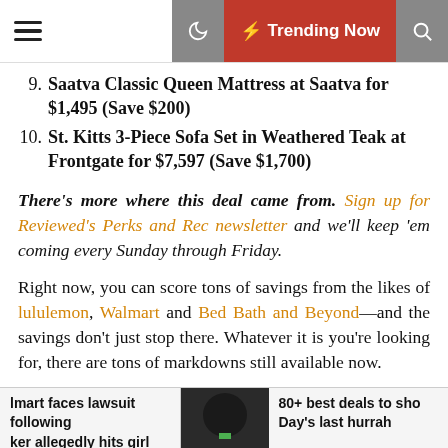Trending Now
9. Saatva Classic Queen Mattress at Saatva for $1,495 (Save $200)
10. St. Kitts 3-Piece Sofa Set in Weathered Teak at Frontgate for $7,597 (Save $1,700)
There's more where this deal came from. Sign up for Reviewed's Perks and Rec newsletter and we'll keep 'em coming every Sunday through Friday.
Right now, you can score tons of savings from the likes of lululemon, Walmart and Bed Bath and Beyond—and the savings don't just stop there. Whatever it is you're looking for, there are tons of markdowns still available now.
►Why do we celebrate Memorial Day? Here's the true history of the holiday
lmart faces lawsuit following ker allegedly hits girl with... | 80+ best deals to sho Day's last hurrah